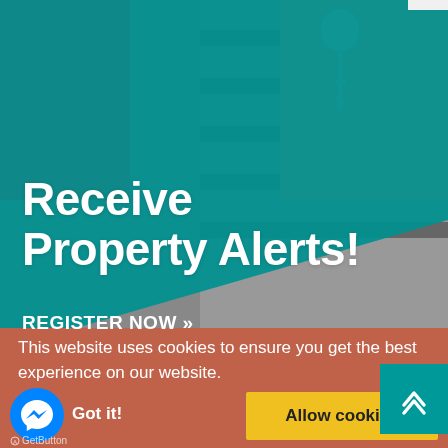[Figure (photo): Person holding a key, background image behind teal overlay. A hand holding house keys dangles at top center; person in striped shirt visible on right.]
Receive Property Alerts!
REGISTER NOW »
This website uses cookies to ensure you get the best experience on our website.
Learn more
Got it!
Allow cookies
GetButton